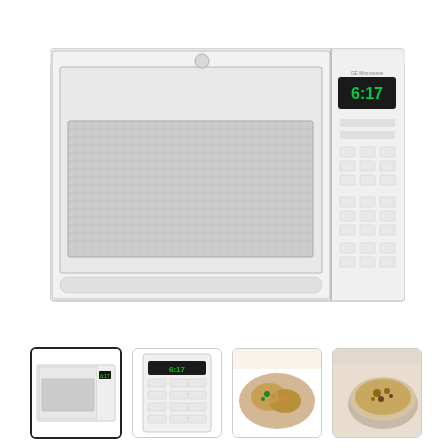[Figure (photo): Main product photo of a white GE over-the-range microwave oven with a mesh window door on the left side and a digital control panel on the right side showing a clock display reading 6:17.]
[Figure (photo): Thumbnail 1 (selected/active): Front view of the white GE over-the-range microwave, matching the main image.]
[Figure (photo): Thumbnail 2: Close-up view of the microwave control panel showing the digital keypad and display.]
[Figure (photo): Thumbnail 3: Photo of baked potatoes or stuffed food items on a plate, likely showing microwave cooking result.]
[Figure (photo): Thumbnail 4: Photo of a bowl of oatmeal or cereal with toppings, partially visible, likely showing microwave cooking result.]